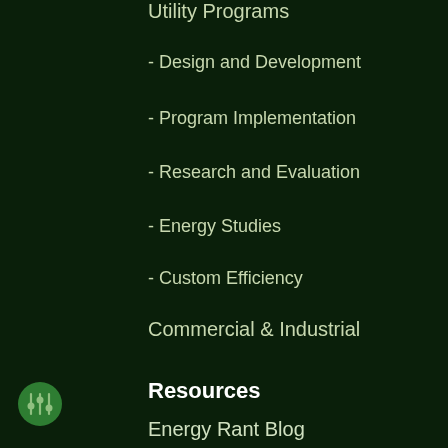Utility Programs
- Design and Development
- Program Implementation
- Research and Evaluation
- Energy Studies
- Custom Efficiency
Commercial & Industrial
Resources
Energy Rant Blog
Big Why Blog
The Hopper
Case Studies
[Figure (illustration): Green circle icon with settings/sliders symbol]